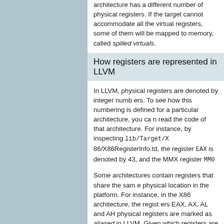architecture has a different number of physical registers. If the target cannot accommodate all the virtual registers, some of them will be mapped to memory, called spilled virtuals.
How registers are represented in LLVM
In LLVM, physical registers are denoted by integer numbers. To see how this numbering is defined for a particular architecture, you can read the code of that architecture. For instance, by inspecting lib/Target/X86/X86RegisterInfo.td, the register EAX is denoted by 43, and the MMX register MM0 is denoted by 65.
Some architectures contain registers that share the same physical location in the platform. For instance, in the X86 architecture, the registers EAX, AX, AL and AH are physical registers are marked as aliased in LLVM. Given a physical register, you can know which registers are aliased by inspecting its RegisterInfo.td file. Moreover, the TargetRegisterInfo class provides the physical registers aliased to a register.
Physical registers, in LLVM, are grouped in Register Classes. Registers in the same class are functionally equivalent, and can be interchangeably used. Each virtual register can only be mapped to registers of a particular class. For instance, in the X86 architecture, there is a class for 32-bit integer registers. A register class is described by TargetRegisterClass. In order to find the class compatible with a given physical, this code can be used: